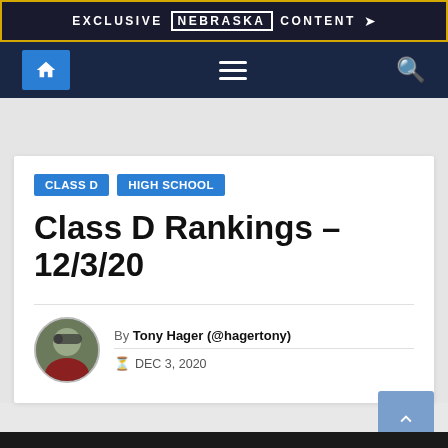EXCLUSIVE NEBRASKA CONTENT
[Figure (screenshot): Navigation bar with home icon, hamburger menu, and search icon on dark navy background]
CLASS D
HIGH SCHOOL
Class D Rankings – 12/3/20
By Tony Hager (@hagertony)
DEC 3, 2020